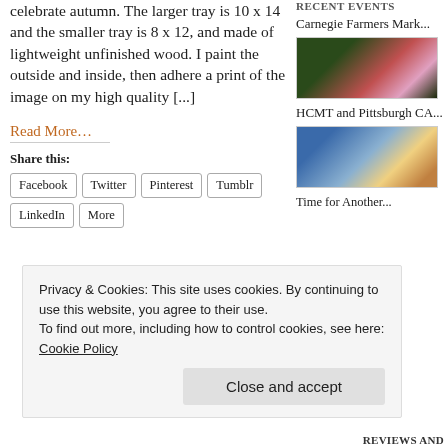celebrate autumn. The larger tray is 10 x 14 and the smaller tray is 8 x 12, and made of lightweight unfinished wood. I paint the outside and inside, then adhere a print of the image on my high quality [...]
Read More...
Share this:
Facebook
Twitter
Pinterest
Tumblr
LinkedIn
More
RECENT EVENTS
Carnegie Farmers Mark...
[Figure (photo): Framed artwork with floral/candle scene]
HCMT and Pittsburgh CA...
[Figure (photo): Display table with crafts and art items]
Time for Another...
Privacy & Cookies: This site uses cookies. By continuing to use this website, you agree to their use.
To find out more, including how to control cookies, see here: Cookie Policy
Close and accept
REVIEWS AND